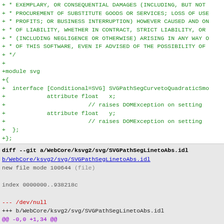+ * EXEMPLARY, OR CONSEQUENTIAL DAMAGES (INCLUDING, BUT NOT
+ * PROCUREMENT OF SUBSTITUTE GOODS OR SERVICES; LOSS OF USE
+ * PROFITS; OR BUSINESS INTERRUPTION) HOWEVER CAUSED AND ON
+ * OF LIABILITY, WHETHER IN CONTRACT, STRICT LIABILITY, OR
+ * (INCLUDING NEGLIGENCE OR OTHERWISE) ARISING IN ANY WAY O
+ * OF THIS SOFTWARE, EVEN IF ADVISED OF THE POSSIBILITY OF
+ */
+
+module svg
+{
+  interface [Conditional=SVG] SVGPathSegCurvetoQuadraticSmo
+            attribute float   x;
+                        // raises DOMException on setting
+            attribute float   y;
+                        // raises DOMException on setting
+  };
+};
diff --git a/WebCore/ksvg2/svg/SVGPathSegLinetoAbs.idl b/WebCore/ksvg2/svg/SVGPathSegLinetoAbs.idl
new file mode 100644 (file)
index 0000000..938218c
--- /dev/null
+++ b/WebCore/ksvg2/svg/SVGPathSegLinetoAbs.idl
@@ -0,0 +1,34 @@
+/*
+ * Copyright (C) 2006 Apple Computer, Inc.
+ *
+ * Redistribution and use in source and binary forms, with
+ * modification, are permitted provided that the following
+ * are met:
+ * 1. Redistributions of source code must retain the above